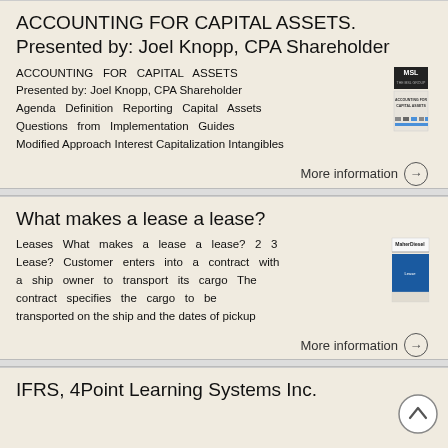ACCOUNTING FOR CAPITAL ASSETS. Presented by: Joel Knopp, CPA Shareholder
ACCOUNTING FOR CAPITAL ASSETS Presented by: Joel Knopp, CPA Shareholder Agenda Definition Reporting Capital Assets Questions from Implementation Guides Modified Approach Interest Capitalization Intangibles
[Figure (illustration): MSL thumbnail cover image for Accounting for Capital Assets presentation]
More information →
What makes a lease a lease?
Leases What makes a lease a lease? 2 3 Lease? Customer enters into a contract with a ship owner to transport its cargo The contract specifies the cargo to be transported on the ship and the dates of pickup
[Figure (illustration): MaherDiesel thumbnail cover image for What makes a lease a lease? presentation with blue rectangle]
More information →
IFRS, 4Point Learning Systems Inc.